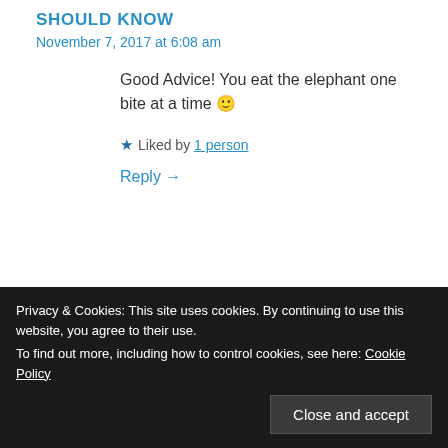SHOULD KNOW
November 7, 2017 at 6:08 am
Good Advice! You eat the elephant one bite at a time 🙂
★ Liked by 1 person
Reply →
RACHAEL RITCHEY
November 7, 2017 at 11:17 am
Privacy & Cookies: This site uses cookies. By continuing to use this website, you agree to their use.
To find out more, including how to control cookies, see here: Cookie Policy